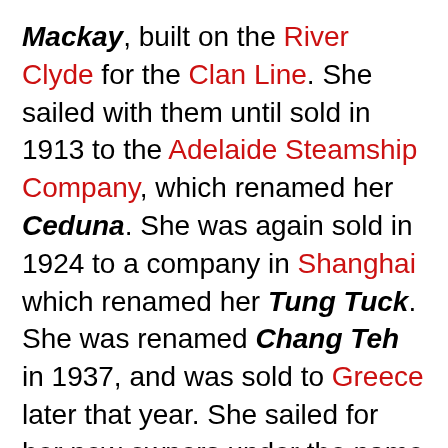Mackay, built on the River Clyde for the Clan Line. She sailed with them until sold in 1913 to the Adelaide Steamship Company, which renamed her Ceduna. She was again sold in 1924 to a company in Shanghai which renamed her Tung Tuck. She was renamed Chang Teh in 1937, and was sold to Greece later that year. She sailed for her new owners under the name Pananis, until seized by the Japanese at Shanghai in 1941 and renamed Shinyō Maru.
She was a cargo steamer, 2,634 gross tons, length 274' and had a beam of 39'